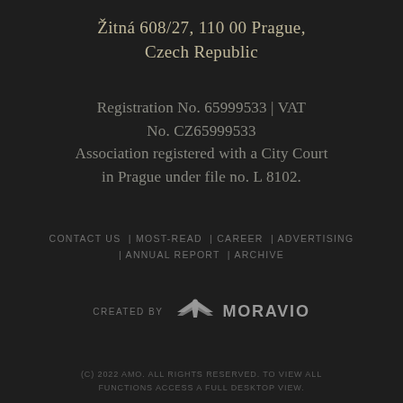Žitná 608/27, 110 00 Prague, Czech Republic
Registration No. 65999533 | VAT No. CZ65999533 Association registered with a City Court in Prague under file no. L 8102.
CONTACT US | MOST-READ | CAREER | ADVERTISING | ANNUAL REPORT | ARCHIVE
[Figure (logo): MORAVIO logo with stylized eagle/bird emblem above the text MORAVIO, alongside 'CREATED BY' label]
(C) 2022 AMO. ALL RIGHTS RESERVED. TO VIEW ALL FUNCTIONS ACCESS A FULL DESKTOP VIEW.